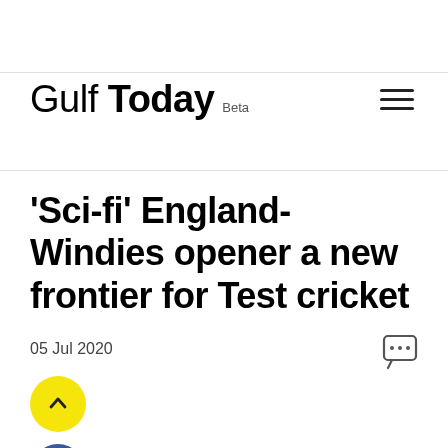Gulf Today Beta
'Sci-fi' England-Windies opener a new frontier for Test cricket
05 Jul 2020